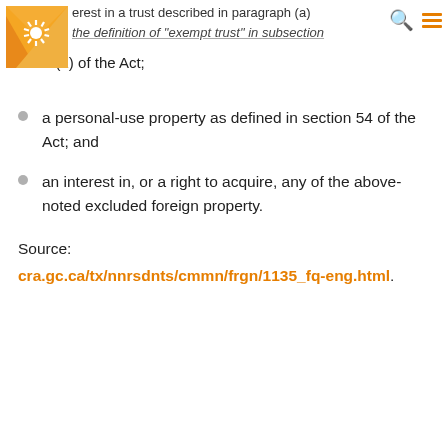erest in a trust described in paragraph (a) of the definition of "exempt trust" in subsection 233.2(1) of the Act;
a personal-use property as defined in section 54 of the Act; and
an interest in, or a right to acquire, any of the above-noted excluded foreign property.
Source:
cra.gc.ca/tx/nnrsdnts/cmmn/frgn/1135_fq-eng.html.